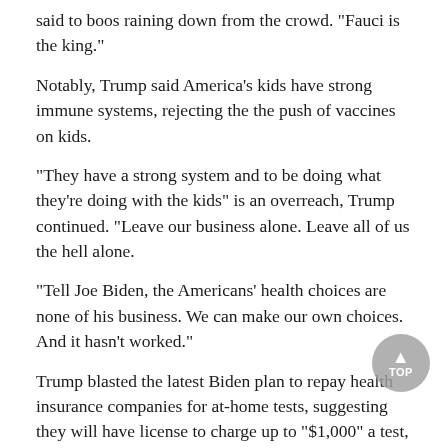said to boos raining down from the crowd. "Fauci is the king."
Notably, Trump said America's kids have strong immune systems, rejecting the the push of vaccines on kids.
"They have a strong system and to be doing what they're doing with the kids" is an overreach, Trump continued. "Leave our business alone. Leave all of us the hell alone.
"Tell Joe Biden, the Americans' health choices are none of his business. We can make our own choices. And it hasn't worked."
Trump blasted the latest Biden plan to repay health insurance companies for at-home tests, suggesting they will have license to charge up to "$1,000" a test, and the government will have to pay for it.
"I want $1,000 a test and Biden's people say, 'OK, you've got it; please get it out fast; we're getting our a**es kicked here," Trump said.
"We gave Joe Biden every tool he could want; yet, he still completely failed. The virus evolved and strategy failed to evolve, and it just didn't evolve with the virus. He's incapable of keeping up. They're incapable. They're incompetent, actually, aren't they, when you think about it."